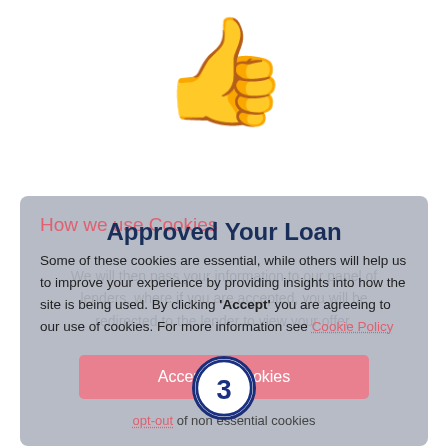[Figure (illustration): Thumbs up emoji icon in warm skin tone with pink/magenta sleeve, large centered at top of page]
Approved Your Loan
We will then pass your information to our panel of lenders, where if you are accepted, you will be redirected to the lender to view your offer.
How we use Cookies
Some of these cookies are essential, while others will help us to improve your experience by providing insights into how the site is being used. By clicking 'Accept' you are agreeing to our use of cookies. For more information see Cookie Policy
Accept All Cookies
opt-out of non essential cookies
[Figure (infographic): Circle with number 3 inside, dark navy blue border, white background — step indicator]